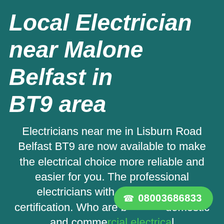Local Electrician near Malone Belfast in BT9 area
Electricians near me in Lisburn Road Belfast BT9 are now available to make the electrical choice more reliable and easier for you. The professional electricians with city and guilds certification. Who are b... domestic and commercial electrical